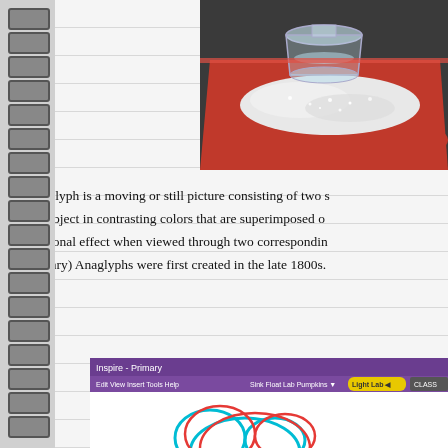[Figure (photo): Photo of a red tray with white crystalline substance and a glass beaker on a dark surface]
An anaglyph is a moving or still picture consisting of two superimposed images of the same subject in contrasting colors that are superimposed on each other to produce a three-dimensional effect when viewed through two corresponding colored filters. (Merriam-Webster Dictionary) Anaglyphs were first created in the late 1800s.
[Figure (screenshot): Screenshot of an educational software application (Inspire - Primary) showing a cartoon-style drawing with red and cyan anaglyph-style cloud and character shapes on a white background, with a purple menu bar showing options including 'Light Lab']